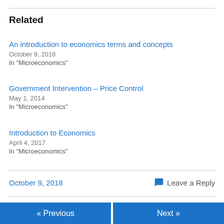Related
An introduction to economics terms and concepts
October 9, 2018
In "Microeconomics"
Government Intervention – Price Control
May 1, 2014
In "Microeconomics"
Introduction to Economics
April 4, 2017
In "Microeconomics"
October 9, 2018
Leave a Reply
« Previous    Next »